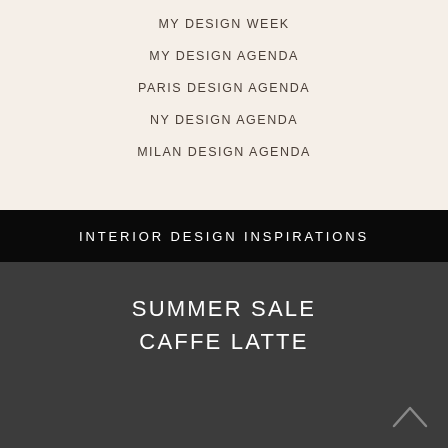MY DESIGN WEEK
MY DESIGN AGENDA
PARIS DESIGN AGENDA
NY DESIGN AGENDA
MILAN DESIGN AGENDA
INTERIOR DESIGN INSPIRATIONS
SUMMER SALE
CAFFE LATTE